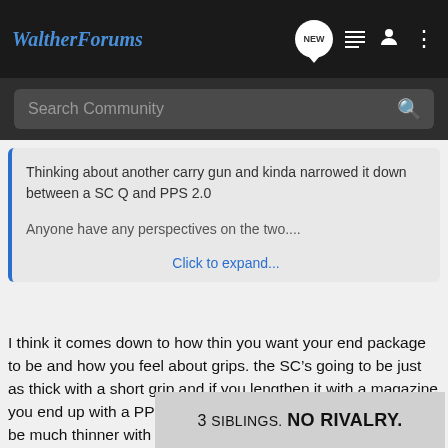WaltherForums
Search Community
Thinking about another carry gun and kinda narrowed it down between a SC Q and PPS 2.0

Anyone have any perspectives on the two....
Click to expand...
I think it comes down to how thin you want your end package to be and how you feel about grips. the SC’s going to be just as thick with a short grip and if you lengthen it with a magazine you end up with a PPQ package anyway, the PPS is going to be much thinner with a short grip that you can adjust with the different up using it which
[Figure (other): Advertisement banner partially overlaying the post text, reading '3 SIBLINGS. NO RIVALRY.']